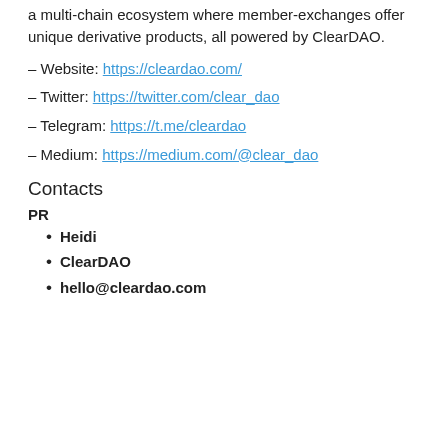a multi-chain ecosystem where member-exchanges offer unique derivative products, all powered by ClearDAO.
– Website: https://cleardao.com/
– Twitter: https://twitter.com/clear_dao
– Telegram: https://t.me/cleardao
– Medium: https://medium.com/@clear_dao
Contacts
PR
Heidi
ClearDAO
hello@cleardao.com